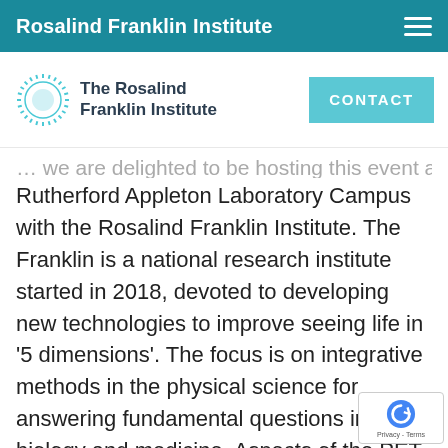Rosalind Franklin Institute
[Figure (logo): The Rosalind Franklin Institute logo with sunburst icon and CONTACT button]
... we are delighted to be hosting this event at Rutherford Appleton Laboratory Campus with the Rosalind Franklin Institute. The Franklin is a national research institute started in 2018, devoted to developing new technologies to improve seeing life in ‘5 dimensions’. The focus is on integrative methods in the physical science for answering fundamental questions in biology and medicine. Aspects of the PET works will therefore also help to shape the future